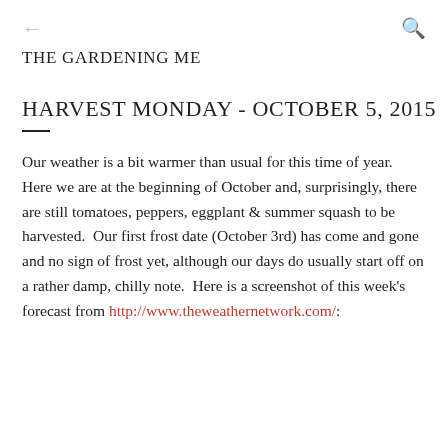← (back) Q (search)
THE GARDENING ME
HARVEST MONDAY - OCTOBER 5, 2015
Our weather is a bit warmer than usual for this time of year.  Here we are at the beginning of October and, surprisingly, there are still tomatoes, peppers, eggplant & summer squash to be harvested.  Our first frost date (October 3rd) has come and gone and no sign of frost yet, although our days do usually start off on a rather damp, chilly note.  Here is a screenshot of this week's forecast from http://www.theweathernetwork.com/: